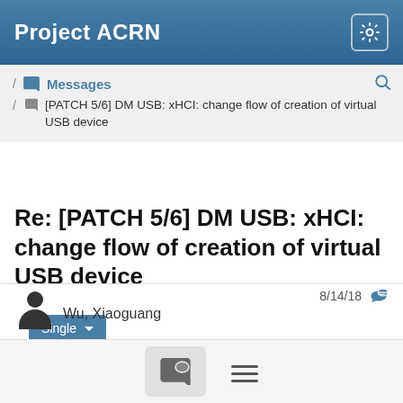Project ACRN
/ Messages / [PATCH 5/6] DM USB: xHCI: change flow of creation of virtual USB device
Single
Re: [PATCH 5/6] DM USB: xHCI: change flow of creation of virtual USB device
Wu, Xiaoguang  8/14/18
On 18-08-13 22:35:32, Yu Wang wrote: